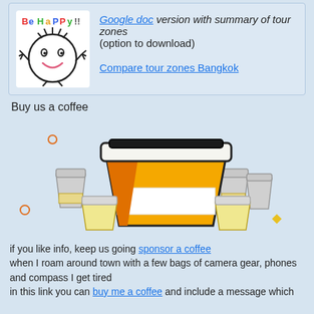[Figure (illustration): Be Happy illustration (cartoon face with colorful text) alongside two links: 'Google doc version with summary of tour zones (option to download)' and 'Compare tour zones Bangkok']
Buy us a coffee
[Figure (illustration): Stack of coffee cups illustration — one large central yellow/orange takeaway cup with dark lid, flanked by smaller grey and yellow cups, with decorative orange circle dots and a yellow diamond shape]
if you like info, keep us going sponsor a coffee
when I roam around town with a few bags of camera gear, phones and compass I get tired
in this link you can buy me a coffee and include a message which